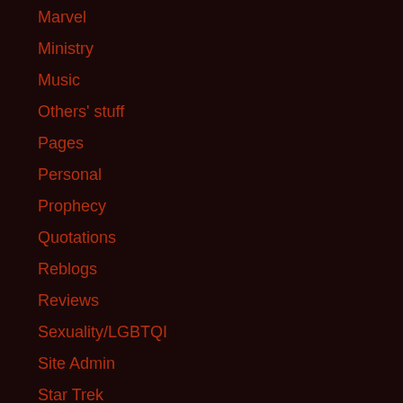Marvel
Ministry
Music
Others' stuff
Pages
Personal
Prophecy
Quotations
Reblogs
Reviews
Sexuality/LGBTQI
Site Admin
Star Trek
Star Wars
Stories